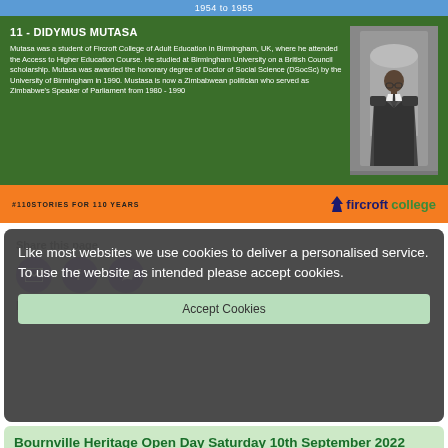1954 to 1955
11 - DIDYMUS MUTASA
Mutasa was a student of Fircroft College of Adult Education in Birmingham, UK, where he attended the Access to Higher Education Course. He studied at Birmingham University on a British Council scholarship. Mutasa was awarded the honorary degree of Doctor of Social Science (DSocSc) by the University of Birmingham in 1990. Mustasa is now a Zimbabwean politician who served as Zimbabwe's Speaker of Parliament from 1980 - 1990
[Figure (photo): Black and white photograph of Didymus Mutasa, a man in a suit with glasses]
#110STORIES FOR 110 YEARS
[Figure (logo): Fircroft College logo with tree icon]
Share this page
Like most websites we use cookies to deliver a personalised service. To use the website as intended please accept cookies.
Accept Cookies
Latest
Bournville Heritage Open Day Saturday 10th September 2022